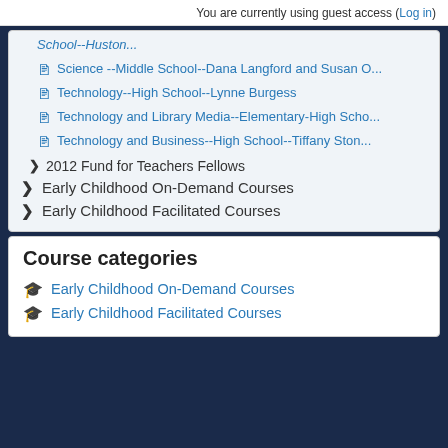You are currently using guest access (Log in)
School--Huston...
Science --Middle School--Dana Langford and Susan O...
Technology--High School--Lynne Burgess
Technology and Library Media--Elementary-High Scho...
Technology and Business--High School--Tiffany Ston...
2012 Fund for Teachers Fellows
Early Childhood On-Demand Courses
Early Childhood Facilitated Courses
Course categories
Early Childhood On-Demand Courses
Early Childhood Facilitated Courses